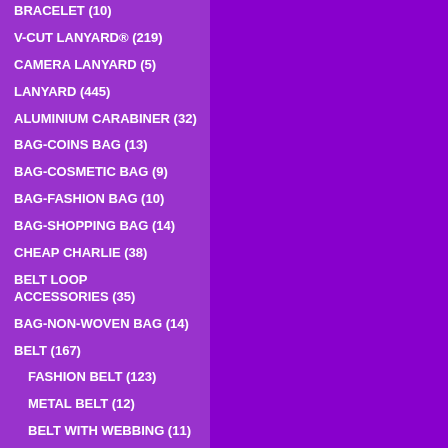BRACELET (10)
V-CUT LANYARD® (219)
CAMERA LANYARD (5)
LANYARD (445)
ALUMINIUM CARABINER (32)
BAG-COINS BAG (13)
BAG-COSMETIC BAG (9)
BAG-FASHION BAG (10)
BAG-SHOPPING BAG (14)
CHEAP CHARLIE (38)
BELT LOOP ACCESSORIES (35)
BAG-NON-WOVEN BAG (14)
BELT (167)
FASHION BELT (123)
METAL BELT (12)
BELT WITH WEBBING (11)
FANCY BELT (17)
BELT/PU/PVC/LEATHER (4)
BOOT ACCESSORIES (7)
BOOK STRAP (4)
BOTTLE OPENER (17)